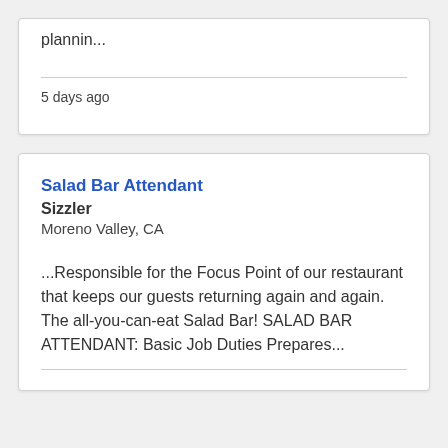plannin...
5 days ago
Salad Bar Attendant
Sizzler
Moreno Valley, CA
...Responsible for the Focus Point of our restaurant that keeps our guests returning again and again. The all-you-can-eat Salad Bar!  SALAD BAR ATTENDANT:  Basic Job Duties Prepares...